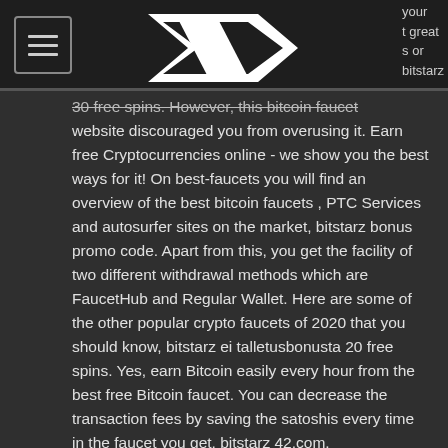[Figure (logo): White lightning bolt / chevron logo on dark background header]
your
t great
s or
bitstarz
30 free spins. However, this bitcoin faucet website discouraged you from overusing it. Earn free Cryptocurrencies online - we show you the best ways for it! On best-faucets you will find an overview of the best bitcoin faucets , PTC Services and autosurfer sites on the market, bitstarz bonus promo code. Apart from this, you get the facility of two different withdrawal methods which are FaucetHub and Regular Wallet. Here are some of the other popular crypto faucets of 2020 that you should know, bitstarz ei talletusbonusta 20 free spins. Yes, earn Bitcoin easily every hour from the best free Bitcoin faucet. You can decrease the transaction fees by saving the satoshis every time in the faucet you get, bitstarz 42.com.